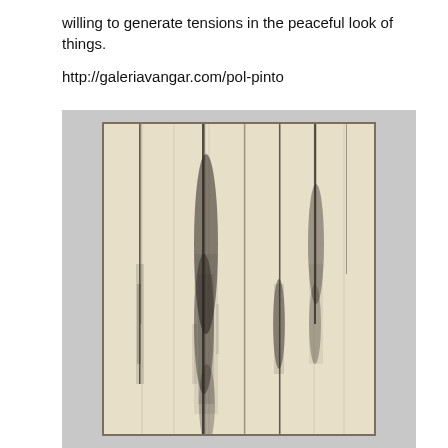willing to generate tensions in the peaceful look of things.
http://galeriavangar.com/pol-pinto
[Figure (photo): An abstract artwork displayed on a gallery wall. The piece shows vertical dark streaks and marks on a cream/beige canvas, framed in a thin brown/bronze frame. The dark marks suggest dripping or falling elements concentrated in several vertical columns against the light background.]